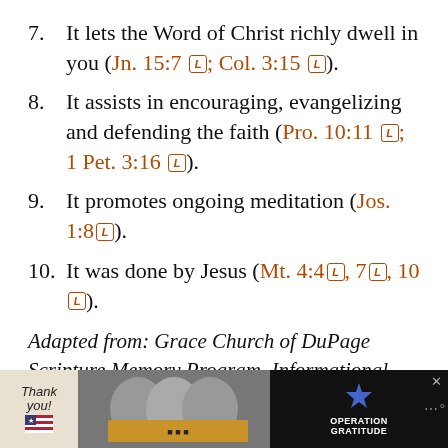7.    It lets the Word of Christ richly dwell in you (Jn. 15:7; Col. 3:15).
8.    It assists in encouraging, evangelizing and defending the faith (Pro. 10:11; 1 Pet. 3:16).
9.    It promotes ongoing meditation (Jos. 1:8).
10. It was done by Jesus (Mt. 4:4, 7, 10).
Adapted from: Grace Church of DuPage Scripture Memory Program, Informational
[Figure (infographic): Advertisement banner at bottom: 'Thank you' with US flag star graphic, photo of healthcare workers with masks, Operation Gratitude logo and name]